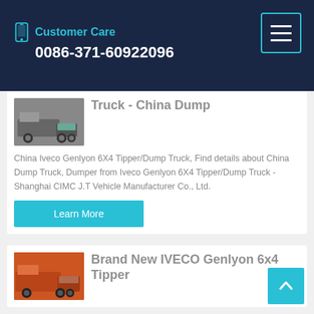Customer Care
0086-371-60922096
Truck - China Dump
China Iveco Genlyon 6X4 Tipper/Dump Truck, Find details about China Dump Truck, Dumper from Iveco Genlyon 6X4 Tipper/Dump Truck - Shanghai CIMC J.T Vehicle Manufacturer Co., Ltd.
Learn More
Brand New IVECO Genlyon 6x4 Tipper